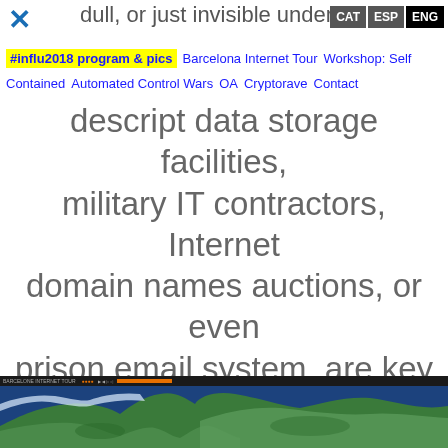dull, or just invisible under
CAT ESP ENG
#influ2018 program & pics   Barcelona Internet Tour   Workshop: Self Contained   Automated Control Wars   OA   Cryptorave   Contact
descript data storage facilities, military IT contractors, Internet domain names auctions, or even prison email system, are key to understand new geographies and hierarchies of control.
[Figure (map): Satellite map showing northern Europe/Russia landmass with dark toolbar at top]